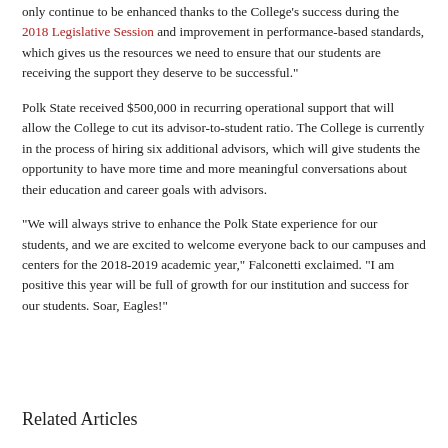only continue to be enhanced thanks to the College's success during the 2018 Legislative Session and improvement in performance-based standards, which gives us the resources we need to ensure that our students are receiving the support they deserve to be successful.”
Polk State received $500,000 in recurring operational support that will allow the College to cut its advisor-to-student ratio. The College is currently in the process of hiring six additional advisors, which will give students the opportunity to have more time and more meaningful conversations about their education and career goals with advisors.
“We will always strive to enhance the Polk State experience for our students, and we are excited to welcome everyone back to our campuses and centers for the 2018-2019 academic year,” Falconetti exclaimed. “I am positive this year will be full of growth for our institution and success for our students. Soar, Eagles!”
Related Articles